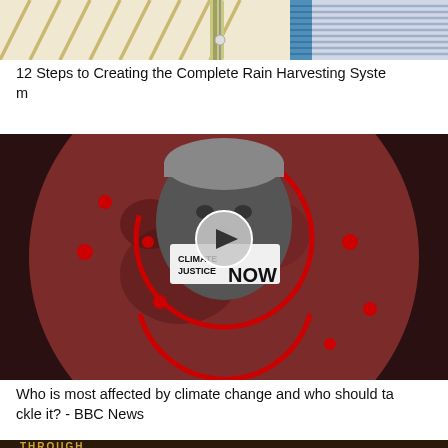[Figure (illustration): Rain harvesting system illustration showing pipes, blinds/slats, and cylindrical tanks]
12 Steps to Creating the Complete Rain Harvesting System
[Figure (photo): Climate justice protest thumbnail - person wearing 'Climate Justice Now' mask with red circular play button overlay, set against reddish globe background with red dots]
Who is most affected by climate change and who should tackle it? - BBC News
[Figure (photo): Partial bottom image with text 'THROUGH' visible]